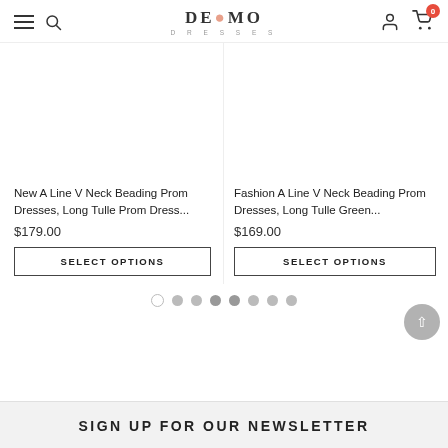DEMO DRESSES navigation header with hamburger, search, logo, user, cart (0)
[Figure (screenshot): Product image placeholder area for New A Line V Neck Beading Prom Dresses]
New A Line V Neck Beading Prom Dresses, Long Tulle Prom Dress...
$179.00
SELECT OPTIONS
[Figure (screenshot): Product image placeholder area for Fashion A Line V Neck Beading Prom Dresses]
Fashion A Line V Neck Beading Prom Dresses, Long Tulle Green...
$169.00
SELECT OPTIONS
Pagination dots: 1 empty, 7 filled
SIGN UP FOR OUR NEWSLETTER